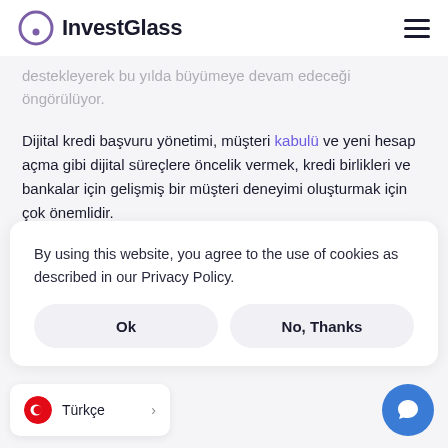InvestGlass
destekleyerek bu yılda büyümeye devam edeceği öngörülüyor.
Dijital kredi başvuru yönetimi, müşteri kabulü ve yeni hesap açma gibi dijital süreçlere öncelik vermek, kredi birlikleri ve bankalar için gelişmiş bir müşteri deneyimi oluşturmak için çok önemlidir.
By using this website, you agree to the use of cookies as described in our Privacy Policy.
Türkçe